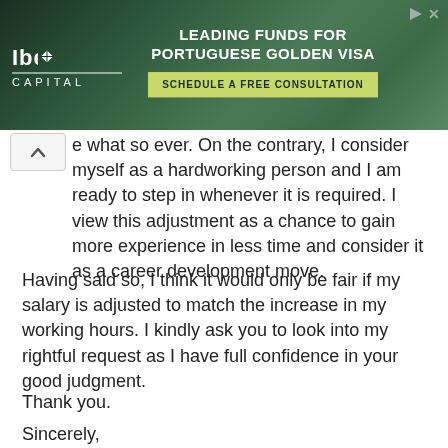[Figure (other): Iberis Capital advertisement banner for Leading Funds for Portuguese Golden Visa with Schedule a Free Consultation CTA button]
e what so ever. On the contrary, I consider myself as a hardworking person and I am ready to step in whenever it is required. I view this adjustment as a chance to gain more experience in less time and consider it as a career development move.
Having said so, I think it would only be fair if my salary is adjusted to match the increase in my working hours. I kindly ask you to look into my rightful request as I have full confidence in your good judgment.
Thank you.
Sincerely,
[Your name]